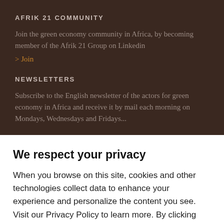AFRIK 21 COMMUNITY
Join the green economy community in Africa, by becoming member of the Afrik 21 Group on Linkedin
> Join
NEWSLETTERS
Subscribe to the English newsletter of the actors for green economy in Africa and receive it by mail each morning on Mondays, Wednesdays and Fridays...
We respect your privacy
When you browse on this site, cookies and other technologies collect data to enhance your experience and personalize the content you see. Visit our Privacy Policy to learn more. By clicking "Accept", you agree to this use of cookies and data.
Accept